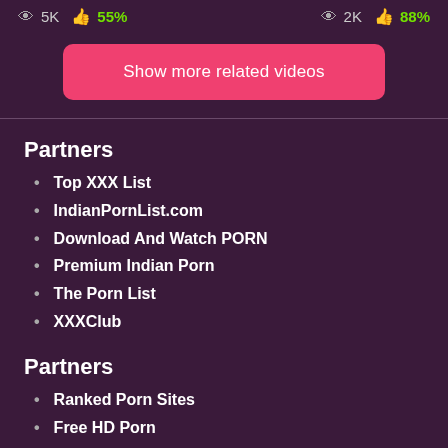👁 5K 👍 55%   👁 2K 👍 88%
Show more related videos
Partners
Top XXX List
IndianPornList.com
Download And Watch PORN
Premium Indian Porn
The Porn List
XXXClub
Partners
Ranked Porn Sites
Free HD Porn
Indian XXX Video
XxxDaily.org